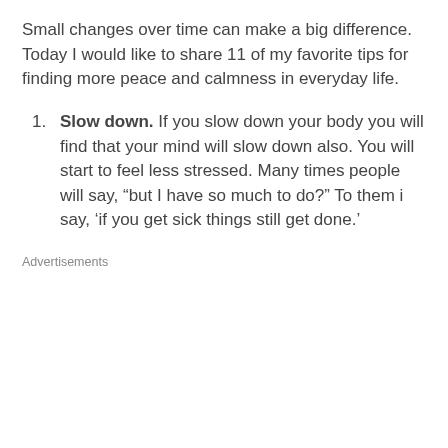Small changes over time can make a big difference. Today I would like to share 11 of my favorite tips for finding more peace and calmness in everyday life.
Slow down. If you slow down your body you will find that your mind will slow down also. You will start to feel less stressed. Many times people will say, “but I have so much to do?” To them i say, ‘if you get sick things still get done.’
Advertisements